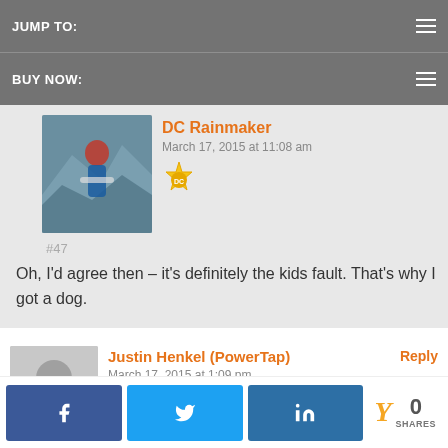JUMP TO:
BUY NOW:
DC Rainmaker
March 17, 2015 at 11:08 am
#47
Oh, I'd agree then – it's definitely the kids fault. That's why I got a dog.
Justin Henkel (PowerTap)
March 17, 2015 at 1:09 pm
#48
How is the dog, Ray?